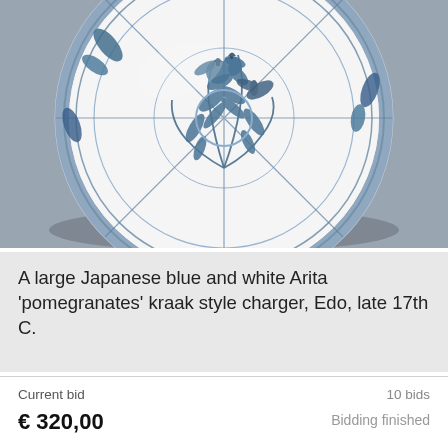[Figure (photo): A large Japanese blue and white Arita porcelain charger (plate) with pomegranates kraak style decoration, photographed against a grey background. The plate features intricate blue floral and foliate designs on white ceramic with a panelled border.]
A large Japanese blue and white Arita 'pomegranates' kraak style charger, Edo, late 17th C.
Current bid
€ 320,00
10 bids
Bidding finished